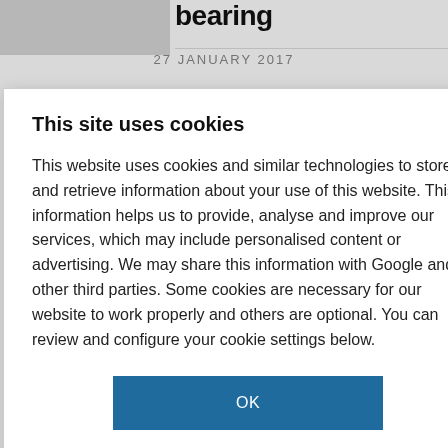bearing
27 JANUARY 2017
This site uses cookies
This website uses cookies and similar technologies to store and retrieve information about your use of this website. This information helps us to provide, analyse and improve our services, which may include personalised content or advertising. We may share this information with Google and other third parties. Some cookies are necessary for our website to work properly and others are optional. You can review and configure your cookie settings below.
OK
COOKIE SETTINGS
'know'
hion influence
ack in biology